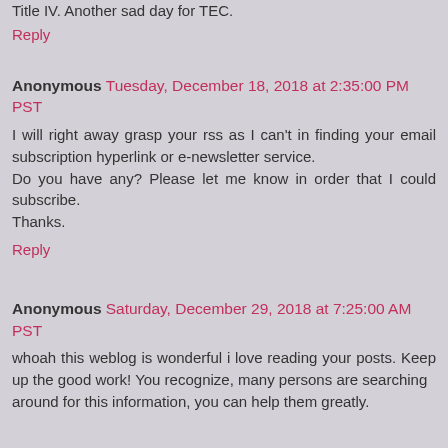Title IV. Another sad day for TEC.
Reply
Anonymous Tuesday, December 18, 2018 at 2:35:00 PM PST
I will right away grasp your rss as I can't in finding your email subscription hyperlink or e-newsletter service.
Do you have any? Please let me know in order that I could subscribe.
Thanks.
Reply
Anonymous Saturday, December 29, 2018 at 7:25:00 AM PST
whoah this weblog is wonderful i love reading your posts. Keep up the good work! You recognize, many persons are searching
around for this information, you can help them greatly.